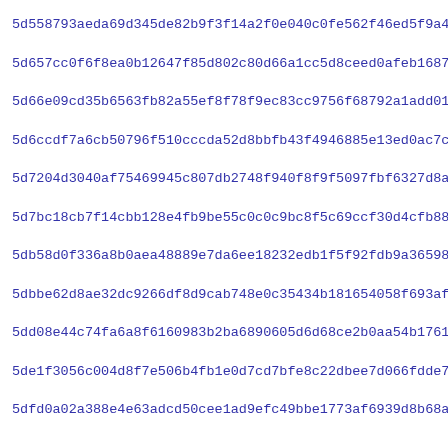5d558793aeda69d345de82b9f3f14a2f0e040c0fe562f46ed5f9a4632bbeb
5d657cc0f6f8ea0b12647f85d802c80d66a1cc5d8ceed0afeb1687de68347
5d66e09cd35b6563fb82a55ef8f78f9ec83cc9756f68792a1add0138bd901
5d6ccdf7a6cb50796f510cccda52d8bbfb43f4946885e13ed0ac7c038d2f7
5d7204d3040af75469945c807db2748f940f8f9f5097fbf6327d8a5a7fd7e
5d7bc18cb7f14cbb128e4fb9be55c0c0c9bc8f5c69ccf30d4cfb882a77421
5db58d0f336a8b0aea48889e7da6ee18232edb1f5f92fdb9a36598872d285
5dbbe62d8ae32dc9266df8d9cab748e0c35434b181654058f693afb14dd0e
5dd08e44c74fa6a8f6160983b2ba6890605d6d68ce2b0aa54b17617a6f12a
5de1f3056c004d8f7e506b4fb1e0d7cd7bfe8c22dbee7d066fdde7b838c5e
5dfd0a02a388e4e63adcd50cee1ad9efc49bbe1773af6939d8b68ab12e57c